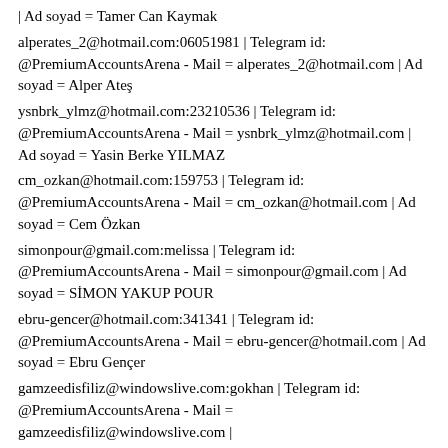| Ad soyad = Tamer Can Kaymak
alperates_2@hotmail.com:06051981 | Telegram id: @PremiumAccountsArena - Mail = alperates_2@hotmail.com | Ad soyad = Alper Ateş
ysnbrk_ylmz@hotmail.com:23210536 | Telegram id: @PremiumAccountsArena - Mail = ysnbrk_ylmz@hotmail.com | Ad soyad = Yasin Berke YILMAZ
cm_ozkan@hotmail.com:159753 | Telegram id: @PremiumAccountsArena - Mail = cm_ozkan@hotmail.com | Ad soyad = Cem Özkan
simonpour@gmail.com:melissa | Telegram id: @PremiumAccountsArena - Mail = simonpour@gmail.com | Ad soyad = SİMON YAKUP POUR
ebru-gencer@hotmail.com:341341 | Telegram id: @PremiumAccountsArena - Mail = ebru-gencer@hotmail.com | Ad soyad = Ebru Gençer
gamzeedisfiliz@windowslive.com:gokhan | Telegram id: @PremiumAccountsArena - Mail = gamzeedisfiliz@windowslive.com | Ad soyad = Gamze Filiz